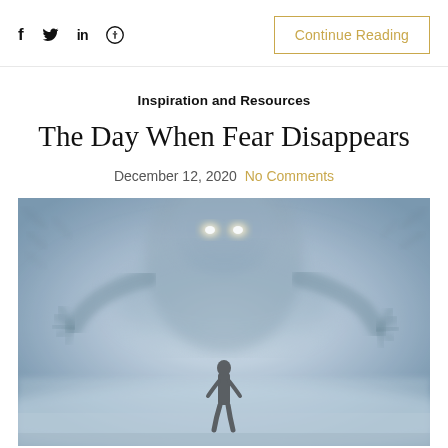f  y  in  ⊕   Continue Reading
Inspiration and Resources
The Day When Fear Disappears
December 12, 2020  No Comments
[Figure (photo): A misty, foggy scene showing a small silhouette of a person walking toward a large eerie ghostly creature with glowing eyes and outstretched hands, surrounded by fog and bare trees.]